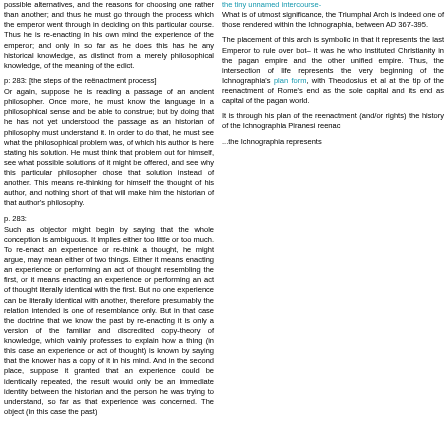possible alternatives, and the reasons for choosing one rather than another; and thus he must go through the process which the emperor went through in deciding on this particular course. Thus he is re-enacting in his own mind the experience of the emperor; and only in so far as he does this has he any historical knowledge, as distinct from a merely philosophical knowledge, of the meaning of the edict.
p: 283: [the steps of the reënactment process]
Or again, suppose he is reading a passage of an ancient philosopher. Once more, he must know the language in a philosophical sense and be able to construe; but by doing that he has not yet understood the passage as an historian of philosophy must understand it. In order to do that, he must see what the philosophical problem was, of which his author is here stating his solution. He must think that problem out for himself, see what possible solutions of it might be offered, and see why this particular philosopher chose that solution instead of another. This means re-thinking for himself the thought of his author, and nothing short of that will make him the historian of that author's philosophy.
p. 283:
Such as objector might begin by saying that the whole conception is ambiguous. It implies either too little or too much. To re-enact an experience or re-think a thought, he might argue, may mean either of two things. Either it means enacting an experience or performing an act of thought resembling the first, or it means enacting an experience or performing an act of thought literally identical with the first. But no one experience can be literally identical with another, therefore presumably the relation intended is one of resemblance only. But in that case the doctrine that we know the past by re-enacting it is only a version of the familiar and discredited copy-theory of knowledge, which vainly professes to explain how a thing (in this case an experience or act of thought) is known by saying that the knower has a copy of it in his mind. And in the second place, suppose it granted that an experience could be identically repeated, the result would only be an immediate identity between the historian and the person he was trying to understand, so far as that experience was concerned. The object (in this case the past)
the tiny unnamed intercourse-
What is of utmost significance, the Triumphal Arch is indeed one of those rendered within the Ichnographia, between AD 367-395.
The placement of this arch is symbolic in that it represents the last Emperor to rule over both – it was he who instituted Christianity in the pagan empire and the other unified empire. Thus, the intersection of life represents the very beginning of the Ichnographia's plan form, with Theodosius et al at the tip of the reenactment of Rome's end as the sole capital and its end as capital of the pagan world.
It is through his plan of the reenactment (and/or rights) the history of the Ichnographia Piranesi reenac
...the Ichnographia represents